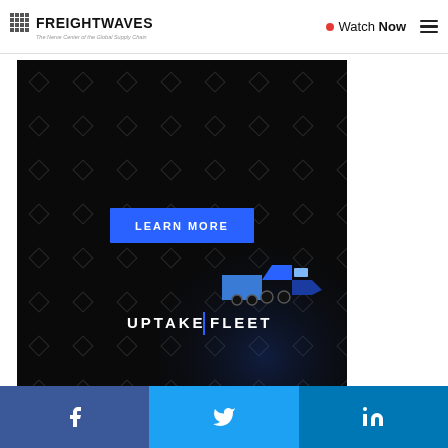FREIGHTWAVES — The Nerve Center of the Global Supply Chain | Watch Now
[Figure (photo): Uptake Fleet advertisement on dark background with diamond pattern, blue LEARN MORE button, UPTAKE | FLEET branding, and isometric truck illustration]
[Figure (other): Social share bar with Facebook, Twitter, and LinkedIn buttons]